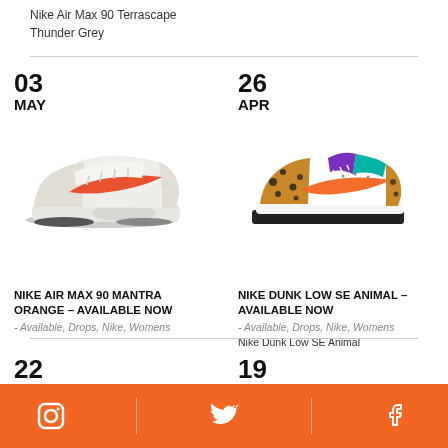Nike Air Max 90 Terrascape
Thunder Grey
03
MAY
[Figure (photo): Nike Air Max 90 Mantra Orange sneaker – white/grey with orange swoosh, side view]
26
APR
[Figure (photo): Nike Dunk Low SE Animal sneaker – white with leopard print, teal and orange accents, side view]
NIKE AIR MAX 90 MANTRA ORANGE – AVAILABLE NOW
- Available, Drops, Nike, Womens
NIKE DUNK LOW SE ANIMAL – AVAILABLE NOW
- Available, Drops, Nike, Womens
Nike Dunk Low SE Animal
22
APR
19
APR
Instagram | Twitter | Facebook